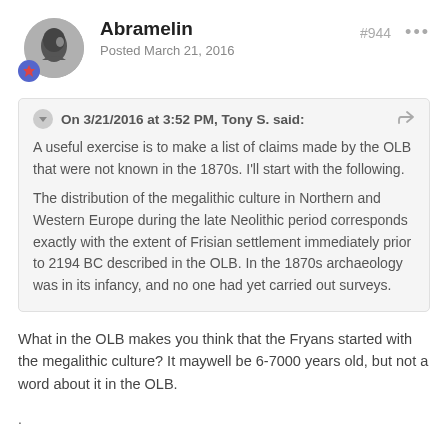Abramelin
Posted March 21, 2016
On 3/21/2016 at 3:52 PM, Tony S. said:
A useful exercise is to make a list of claims made by the OLB that were not known in the 1870s. I'll start with the following.
The distribution of the megalithic culture in Northern and Western Europe during the late Neolithic period corresponds exactly with the extent of Frisian settlement immediately prior to 2194 BC described in the OLB. In the 1870s archaeology was in its infancy, and no one had yet carried out surveys.
What in the OLB makes you think that the Fryans started with the megalithic culture? It maywell be 6-7000 years old, but not a word about it in the OLB.
.